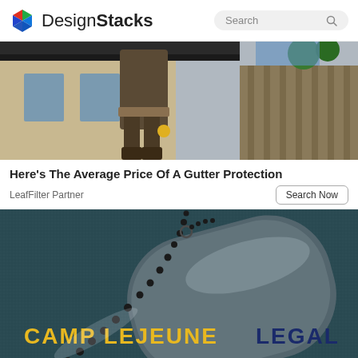DesignStacks | Search
[Figure (photo): Worker on a ladder cleaning or installing gutters on a house, wearing work clothes and tool belt, fence and house visible in background.]
Here's The Average Price Of A Gutter Protection
LeafFilter Partner
[Figure (photo): Military dog tags on a dark teal textured background with bead chain, text reads CAMP LEJEUNE LEGAL in gold and dark blue letters.]